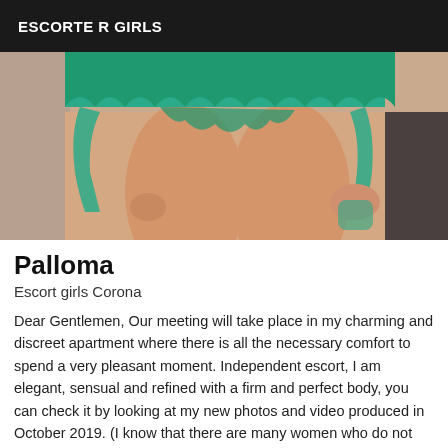ESCORTE R GIRLS
[Figure (photo): Photo of a woman wearing green lace lingerie, cropped to show torso and legs, seated on a light-colored surface with dark background elements]
Palloma
Escort girls Corona
Dear Gentlemen, Our meeting will take place in my charming and discreet apartment where there is all the necessary comfort to spend a very pleasant moment. Independent escort, I am elegant, sensual and refined with a firm and perfect body, you can check it by looking at my new photos and video produced in October 2019. (I know that there are many women who do not look like